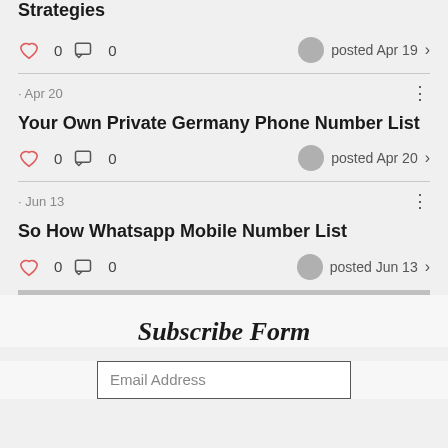Strategies
♡ 0  💬 0   posted Apr 19 ›
· Apr 20
Your Own Private Germany Phone Number List
♡ 0  💬 0   posted Apr 20 ›
· Jun 13
So How Whatsapp Mobile Number List
♡ 0  💬 0   posted Jun 13 ›
Subscribe Form
Email Address